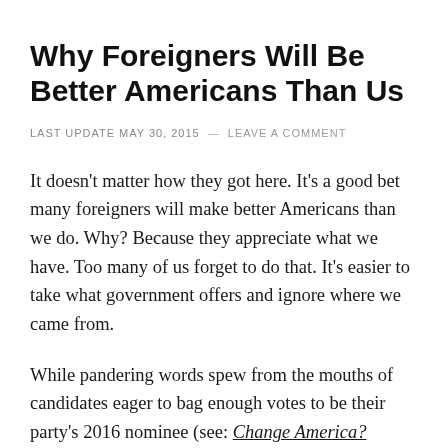Why Foreigners Will Be Better Americans Than Us
LAST UPDATE MAY 30, 2015 — LEAVE A COMMENT
It doesn't matter how they got here. It's a good bet many foreigners will make better Americans than we do. Why? Because they appreciate what we have. Too many of us forget to do that. It's easier to take what government offers and ignore where we came from.
While pandering words spew from the mouths of candidates eager to bag enough votes to be their party's 2016 nominee (see: Change America?